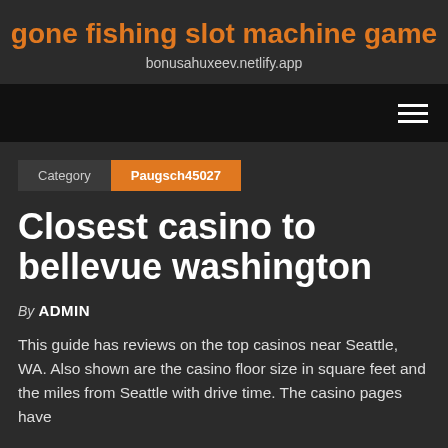gone fishing slot machine game
bonusahuxeev.netlify.app
Category  Paugsch45027
Closest casino to bellevue washington
By ADMIN
This guide has reviews on the top casinos near Seattle, WA. Also shown are the casino floor size in square feet and the miles from Seattle with drive time. The casino pages have